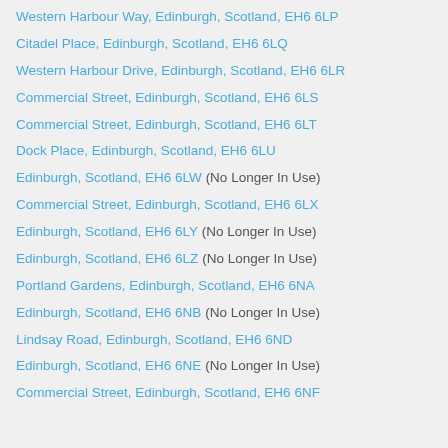Western Harbour Way, Edinburgh, Scotland, EH6 6LP
Citadel Place, Edinburgh, Scotland, EH6 6LQ
Western Harbour Drive, Edinburgh, Scotland, EH6 6LR
Commercial Street, Edinburgh, Scotland, EH6 6LS
Commercial Street, Edinburgh, Scotland, EH6 6LT
Dock Place, Edinburgh, Scotland, EH6 6LU
Edinburgh, Scotland, EH6 6LW (No Longer In Use)
Commercial Street, Edinburgh, Scotland, EH6 6LX
Edinburgh, Scotland, EH6 6LY (No Longer In Use)
Edinburgh, Scotland, EH6 6LZ (No Longer In Use)
Portland Gardens, Edinburgh, Scotland, EH6 6NA
Edinburgh, Scotland, EH6 6NB (No Longer In Use)
Lindsay Road, Edinburgh, Scotland, EH6 6ND
Edinburgh, Scotland, EH6 6NE (No Longer In Use)
Commercial Street, Edinburgh, Scotland, EH6 6NF